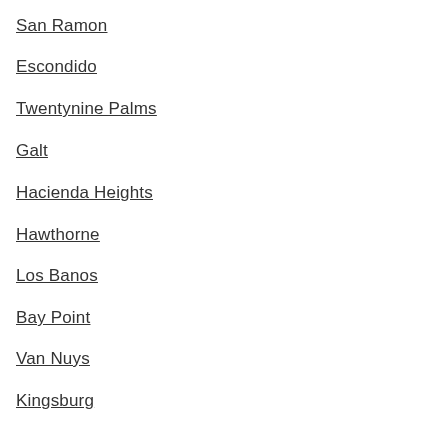San Ramon
Escondido
Twentynine Palms
Galt
Hacienda Heights
Hawthorne
Los Banos
Bay Point
Van Nuys
Kingsburg